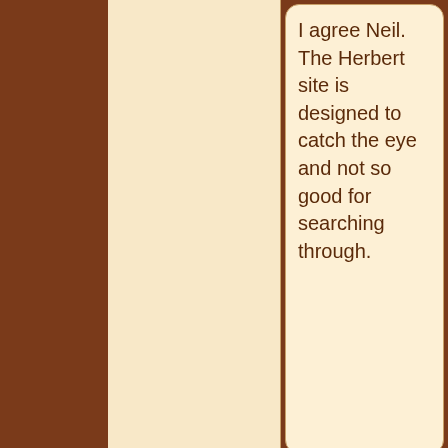I agree Neil. The Herbert site is designed to catch the eye and not so good for searching through.
Memories and Nostalgia - Coventry Digital
Rob Orland
Historic Coventry
All posts by this member
10 of 104  Fri 5th Feb 2021 11:25am
Webmaster :
Joined Jan 2010
Total posts:1565
On 5th Feb 2021  9:22am, NeilsYard said:
Yes Thanks